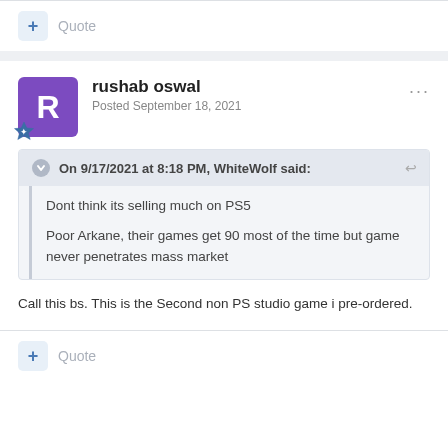+ Quote
rushab oswal
Posted September 18, 2021
On 9/17/2021 at 8:18 PM, WhiteWolf said:
Dont think its selling much on PS5

Poor Arkane, their games get 90 most of the time but game never penetrates mass market
Call this bs. This is the Second non PS studio game i pre-ordered.
+ Quote